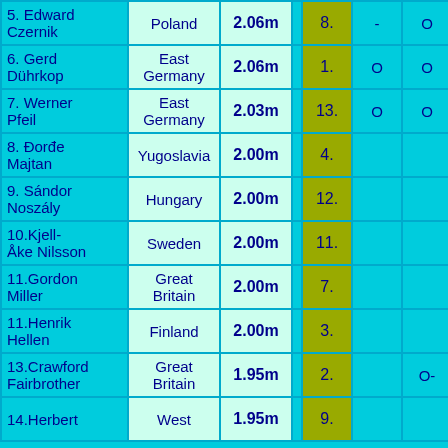| Name | Country | Result |  | Rank | Att1 | Att2 | Att3 | Att4 | Att5 |
| --- | --- | --- | --- | --- | --- | --- | --- | --- | --- |
| 5. Edward Czernik | Poland | 2.06m |  | 8. | - | O | O | O |
| 6. Gerd Dührkop | East Germany | 2.06m |  | 1. | O | O | XO | XO |
| 7. Werner Pfeil | East Germany | 2.03m |  | 13. | O | O | O | O | X |
| 8. Đorđe Majtan | Yugoslavia | 2.00m |  | 4. |  |  | O- |  |
| 9. Sándor Noszály | Hungary | 2.00m |  | 12. |  |  | O- |  |
| 10. Kjell-Åke Nilsson | Sweden | 2.00m |  | 11. |  |  | O- |  |
| 11. Gordon Miller | Great Britain | 2.00m |  | 7. |  |  | O- |  |
| 11. Henrik Hellen | Finland | 2.00m |  | 3. |  |  | O- |  |
| 13. Crawford Fairbrother | Great Britain | 1.95m |  | 2. |  | O- |  |  |
| 14. Herbert ... | West ... | 1.95m |  | 9. |  |  | O- |  |